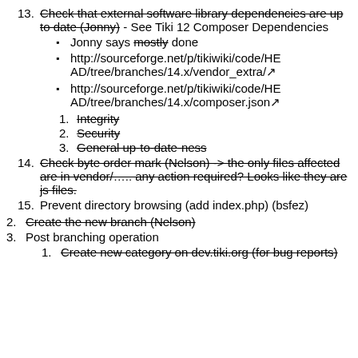13. Check that external software library dependencies are up to date (Jonny) - See Tiki 12 Composer Dependencies
Jonny says mostly done
http://sourceforge.net/p/tikiwiki/code/HEAD/tree/branches/14.x/vendor_extra/
http://sourceforge.net/p/tikiwiki/code/HEAD/tree/branches/14.x/composer.json
1. Integrity
2. Security
3. General up-to-date-ness
14. Check byte order mark (Nelson) -> the only files affected are in vendor/..... any action required? Looks like they are js files.
15. Prevent directory browsing (add index.php) (bsfez)
2. Create the new branch (Nelson)
3. Post branching operation
1. Create new category on dev.tiki.org (for bug reports)